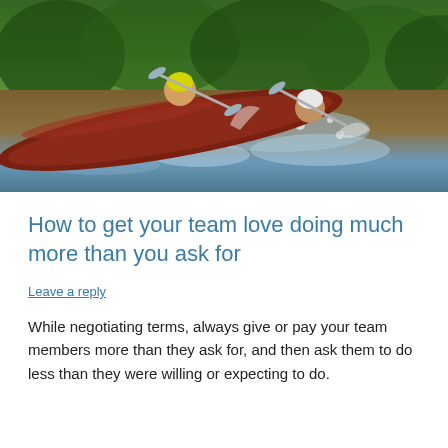[Figure (photo): Two people kayaking on a river with turbulent water and splashing waves; one person wears a yellow helmet and life vest, the other wears a white helmet; they are paddling a large inflatable raft through rapids, with dense green forest in the background.]
How to get your team love doing much more than you ask for
Leave a reply
While negotiating terms, always give or pay your team members more than they ask for, and then ask them to do less than they were willing or expecting to do.